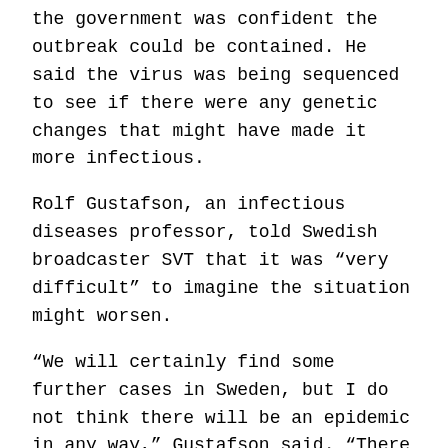the government was confident the outbreak could be contained. He said the virus was being sequenced to see if there were any genetic changes that might have made it more infectious.
Rolf Gustafson, an infectious diseases professor, told Swedish broadcaster SVT that it was “very difficult” to imagine the situation might worsen.
“We will certainly find some further cases in Sweden, but I do not think there will be an epidemic in any way,” Gustafson said. “There is nothing to suggest that at present.”
Scientists said that while it’s possible the